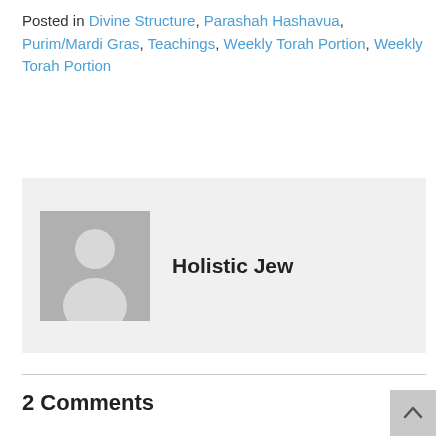Posted in Divine Structure, Parashah Hashavua, Purim/Mardi Gras, Teachings, Weekly Torah Portion, Weekly Torah Portion
[Figure (illustration): Author box with default avatar silhouette placeholder image and the author name 'Holistic Jew']
2 Comments